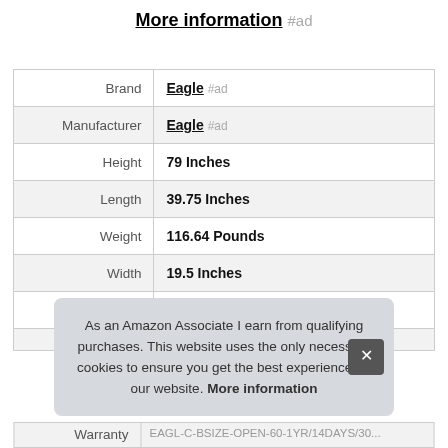More information #ad
| Label | Value |
| --- | --- |
| Brand | Eagle #ad |
| Manufacturer | Eagle #ad |
| Height | 79 Inches |
| Length | 39.75 Inches |
| Weight | 116.64 Pounds |
| Width | 19.5 Inches |
| Part Number | 50104PLMD |
| Warranty | ... |
As an Amazon Associate I earn from qualifying purchases. This website uses the only necessary cookies to ensure you get the best experience on our website. More information